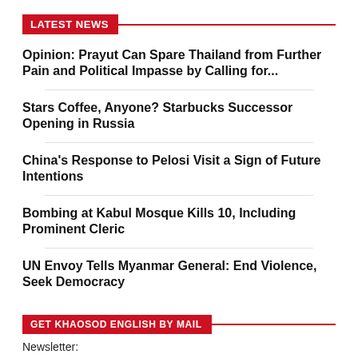LATEST NEWS
Opinion: Prayut Can Spare Thailand from Further Pain and Political Impasse by Calling for...
Stars Coffee, Anyone? Starbucks Successor Opening in Russia
China's Response to Pelosi Visit a Sign of Future Intentions
Bombing at Kabul Mosque Kills 10, Including Prominent Cleric
UN Envoy Tells Myanmar General: End Violence, Seek Democracy
GET KHAOSOD ENGLISH BY MAIL
Newsletter:
Your email address